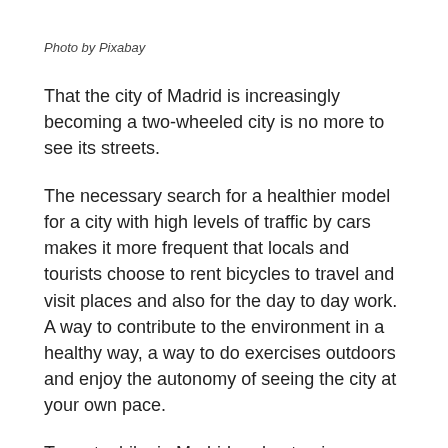Photo by Pixabay
That the city of Madrid is increasingly becoming a two-wheeled city is no more to see its streets.
The necessary search for a healthier model for a city with high levels of traffic by cars makes it more frequent that locals and tourists choose to rent bicycles to travel and visit places and also for the day to day work. A way to contribute to the environment in a healthy way, a way to do exercises outdoors and enjoy the autonomy of seeing the city at your own pace.
To rent a bike in Madrid and get going you should know that you have options whether you want to join a guided route or want to go by yourself. Madrid has the BiciMAD rental service, in addition to other operators that also offer their...